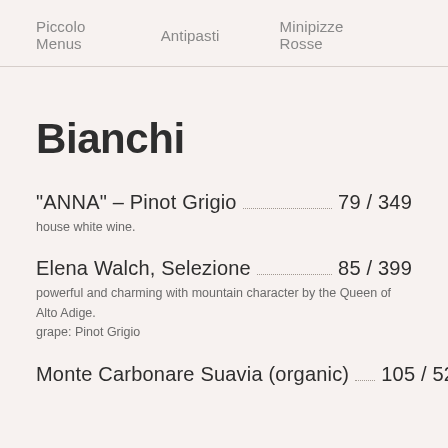Piccolo Menus   Antipasti   Minipizze Rosse
Bianchi
“ANNA” – Pinot Grigio  79 / 349
house white wine.
Elena Walch, Selezione  85 / 399
powerful and charming with mountain character by the Queen of Alto Adige.
grape: Pinot Grigio
Monte Carbonare Suavia (organic)  105 / 525